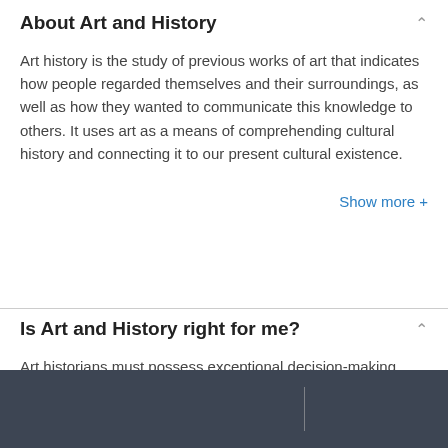About Art and History
Art history is the study of previous works of art that indicates how people regarded themselves and their surroundings, as well as how they wanted to communicate this knowledge to others. It uses art as a means of comprehending cultural history and connecting it to our present cultural existence.
Show more +
Is Art and History right for me?
Art historians must possess exceptional decision-making abilities, art evaluative competence, and a keen sense of